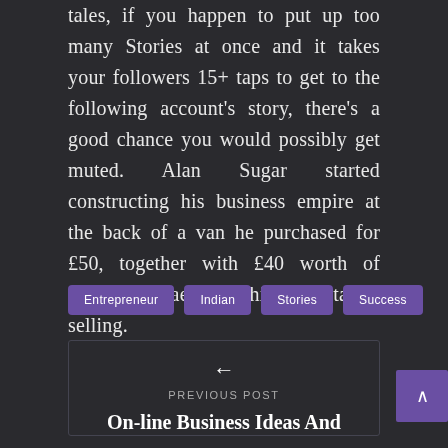tales, if you happen to put up too many Stories at once and it takes your followers 15+ taps to get to the following account's story, there's a good chance you would possibly get muted. Alan Sugar started constructing his business empire at the back of a van he purchased for £50, together with £40 worth of automotive aerials which he started selling.
Entrepreneur
Indian
Stories
Success
←
PREVIOUS POST
On-line Business Ideas And